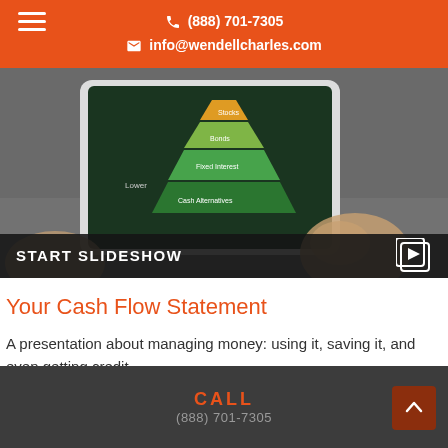(888) 701-7305 | info@wendellcharles.com
[Figure (screenshot): Hero image showing a tablet device displaying a pyramid/funnel investment chart with layers labeled Stocks, Bonds, Fixed Interest, Cash Alternatives, on a dark green background. Hands are holding the tablet.]
START SLIDESHOW
Your Cash Flow Statement
A presentation about managing money: using it, saving it, and even getting credit.
CALL
(888) 701-7305